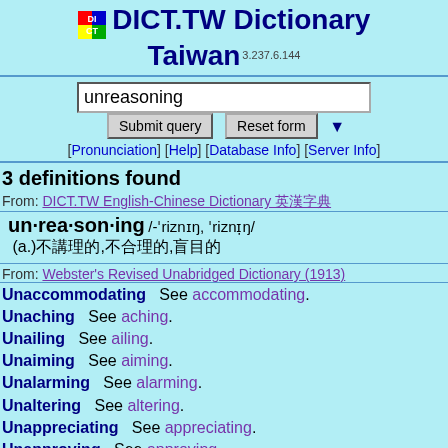DICT.TW Dictionary Taiwan 3.237.6.144
unreasoning
Submit query | Reset form
[Pronunciation] [Help] [Database Info] [Server Info]
3 definitions found
From: DICT.TW English-Chinese Dictionary 英漢字典
un·rea·son·ing /-ˈriznɪŋ, ˈriznɪ̣ŋ/ (a.)不講理的,不合理的,盲目的
From: Webster's Revised Unabridged Dictionary (1913)
Unaccommodating  See accommodating.
Unaching  See aching.
Unailing  See ailing.
Unaiming  See aiming.
Unalarming  See alarming.
Unaltering  See altering.
Unappreciating  See appreciating.
Unapproving  See approving.
Unconspiring  See conspiring.